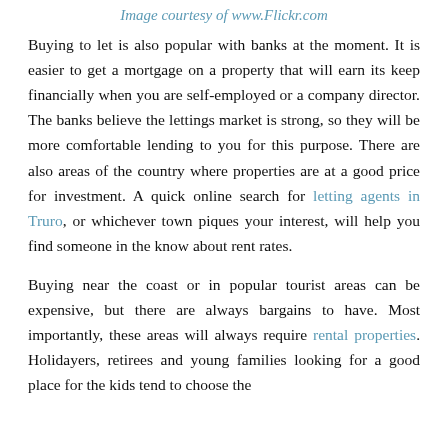Image courtesy of www.Flickr.com
Buying to let is also popular with banks at the moment. It is easier to get a mortgage on a property that will earn its keep financially when you are self-employed or a company director. The banks believe the lettings market is strong, so they will be more comfortable lending to you for this purpose. There are also areas of the country where properties are at a good price for investment. A quick online search for letting agents in Truro, or whichever town piques your interest, will help you find someone in the know about rent rates.
Buying near the coast or in popular tourist areas can be expensive, but there are always bargains to have. Most importantly, these areas will always require rental properties. Holidayers, retirees and young families looking for a good place for the kids tend to choose the